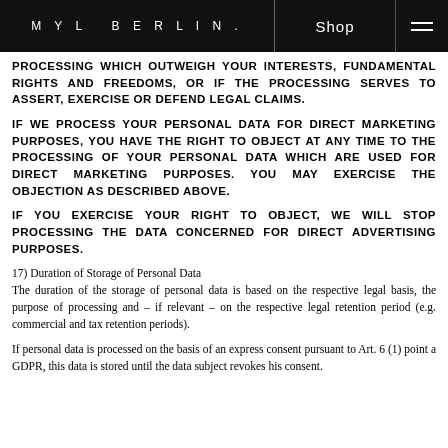MYL BERLIN.   Shop
PROCESSING WHICH OUTWEIGH YOUR INTERESTS, FUNDAMENTAL RIGHTS AND FREEDOMS, OR IF THE PROCESSING SERVES TO ASSERT, EXERCISE OR DEFEND LEGAL CLAIMS.
IF WE PROCESS YOUR PERSONAL DATA FOR DIRECT MARKETING PURPOSES, YOU HAVE THE RIGHT TO OBJECT AT ANY TIME TO THE PROCESSING OF YOUR PERSONAL DATA WHICH ARE USED FOR DIRECT MARKETING PURPOSES. YOU MAY EXERCISE THE OBJECTION AS DESCRIBED ABOVE.
IF YOU EXERCISE YOUR RIGHT TO OBJECT, WE WILL STOP PROCESSING THE DATA CONCERNED FOR DIRECT ADVERTISING PURPOSES.
17) Duration of Storage of Personal Data
The duration of the storage of personal data is based on the respective legal basis, the purpose of processing and – if relevant – on the respective legal retention period (e.g. commercial and tax retention periods).
If personal data is processed on the basis of an express consent pursuant to Art. 6 (1) point a GDPR, this data is stored until the data subject revokes his consent.